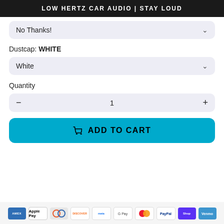LOW HERTZ CAR AUDIO | STAY LOUD
No Thanks!
Dustcap: WHITE
White
Quantity
- 1 +
🛒 ADD TO CART
[Figure (other): Payment method icons: American Express, Apple Pay, Diners, Discover, Meta Pay, Google Pay, Mastercard, PayPal, Shop Pay, Venmo]